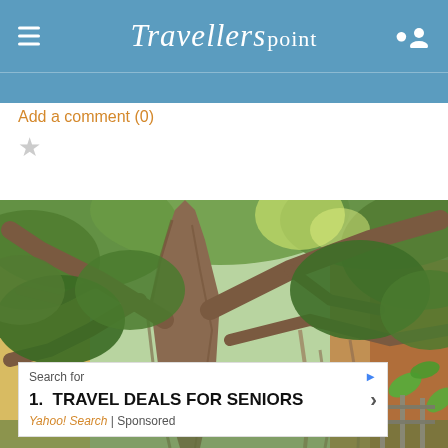Travellerspoint
Add a comment (0)
[Figure (photo): Large tree with thick spreading branches and green foliage in an urban setting, buildings visible behind]
Search for
1. TRAVEL DEALS FOR SENIORS
Yahoo! Search | Sponsored